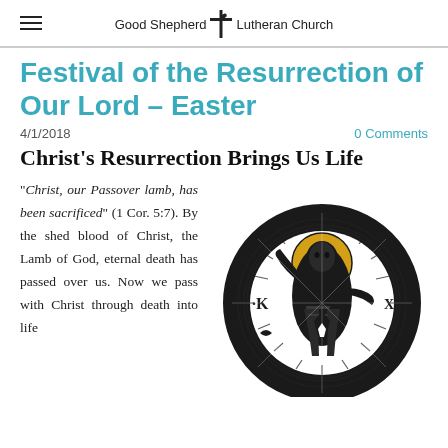Good Shepherd Lutheran Church
Festival of the Resurrection of Our Lord – Easter
4/1/2018   0 Comments
Christ's Resurrection Brings Us Life
"Christ, our Passover lamb, has been sacrificed" (1 Cor. 5:7). By the shed blood of Christ, the Lamb of God, eternal death has passed over us. Now we pass with Christ through death into life
[Figure (illustration): Black and white woodcut-style illustration of a risen Christ figure with golden halo, arms raised, wearing patterned robes, set within a circular design with Chi-Rho symbols]